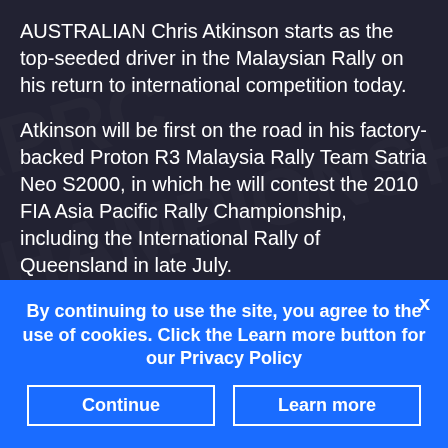AUSTRALIAN Chris Atkinson starts as the top-seeded driver in the Malaysian Rally on his return to international competition today.
Atkinson will be first on the road in his factory-backed Proton R3 Malaysia Rally Team Satria Neo S2000, in which he will contest the 2010 FIA Asia Pacific Rally Championship, including the International Rally of Queensland in late July.
This weekend's opening round of the APRC promises plenty of rain and slippery conditions in
By continuing to use the site, you agree to the use of cookies. Click the Learn more button for our Privacy Policy
Continue
Learn more